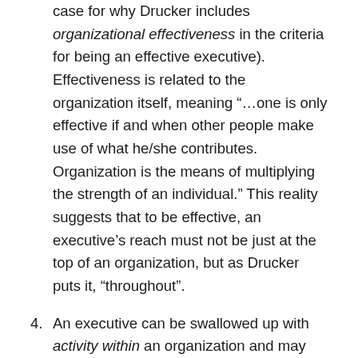case for why Drucker includes organizational effectiveness in the criteria for being an effective executive). Effectiveness is related to the organization itself, meaning "…one is only effective if and when other people make use of what he/she contributes. Organization is the means of multiplying the strength of an individual." This reality suggests that to be effective, an executive's reach must not be just at the top of an organization, but as Drucker puts it, "throughout".
4. An executive can be swallowed up with activity within an organization and may not take the time to see without - they become "inside focused". And so, he/she may rely on filtered info from within regarding outside results rather than gaining fresh, first-hand